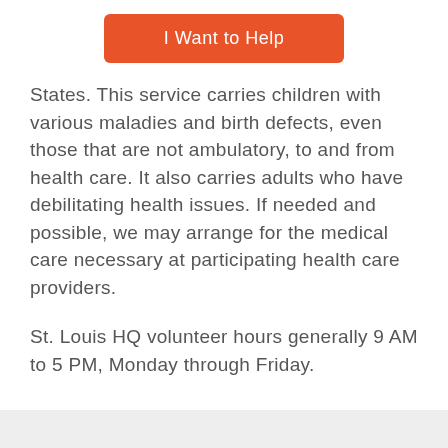[Figure (other): Orange/red rounded button labeled 'I Want to Help']
States. This service carries children with various maladies and birth defects, even those that are not ambulatory, to and from health care. It also carries adults who have debilitating health issues. If needed and possible, we may arrange for the medical care necessary at participating health care providers.
St. Louis HQ volunteer hours generally 9 AM to 5 PM, Monday through Friday.